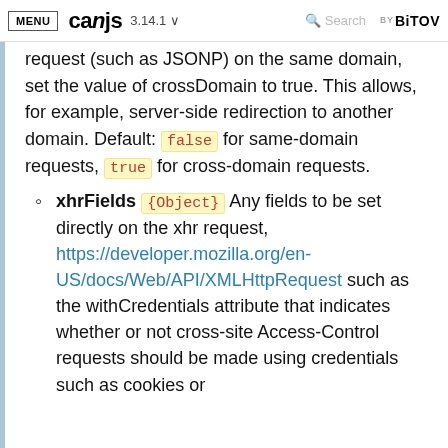MENU  canjs  3.14.1  Search  BY BITOVI
request (such as JSONP) on the same domain, set the value of crossDomain to true. This allows, for example, server-side redirection to another domain. Default: false for same-domain requests, true for cross-domain requests.
xhrFields {Object} Any fields to be set directly on the xhr request, https://developer.mozilla.org/en-US/docs/Web/API/XMLHttpRequest such as the withCredentials attribute that indicates whether or not cross-site Access-Control requests should be made using credentials such as cookies or